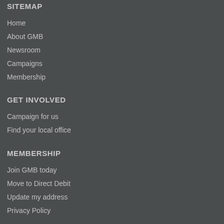SITEMAP
Home
About GMB
Newsroom
Campaigns
Membership
GET INVOLVED
Campaign for us
Find your local office
MEMBERSHIP
Join GMB today
Move to Direct Debit
Update my address
Privacy Policy